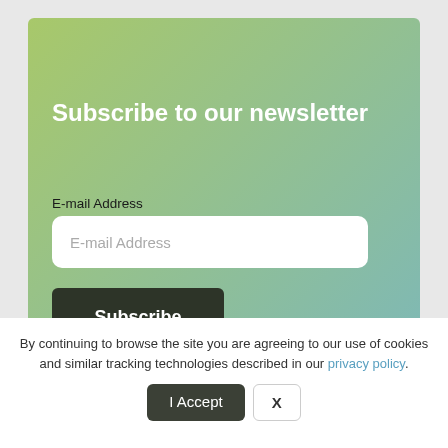Subscribe to our newsletter
E-mail Address
E-mail Address
Subscribe
By continuing to browse the site you are agreeing to our use of cookies and similar tracking technologies described in our privacy policy.
I Accept
X